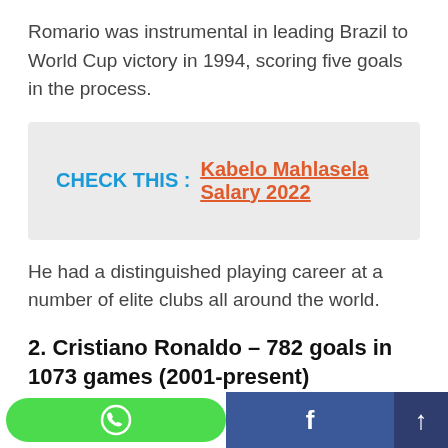Romario was instrumental in leading Brazil to World Cup victory in 1994, scoring five goals in the process.
CHECK THIS :   Kabelo Mahlasela Salary 2022
He had a distinguished playing career at a number of elite clubs all around the world.
2. Cristiano Ronaldo – 782 goals in 1073 games (2001-present)